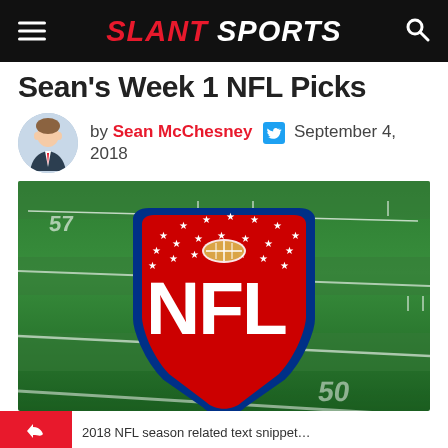SLANT SPORTS
Sean's Week 1 NFL Picks
by Sean McChesney  September 4, 2018
[Figure (photo): NFL shield logo painted on green football field turf]
2018 NFL season related text snippet